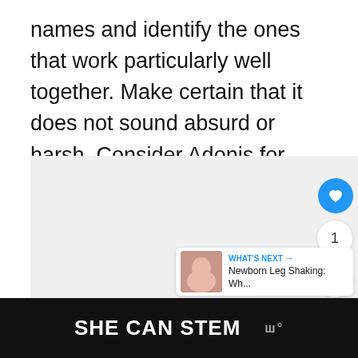names and identify the ones that work particularly well together. Make certain that it does not sound absurd or harsh. Consider Adonis for ones that can be given nicknames when they are grouped together.
[Figure (screenshot): A content area with a like button (heart icon, blue circle), a count of 1, a share button, and a 'What's Next' card showing 'Newborn Leg Shaking: Wh...' with a thumbnail image.]
[Figure (infographic): A dark banner advertisement at the bottom of the page reading 'SHE CAN STEM' with a logo on the right.]